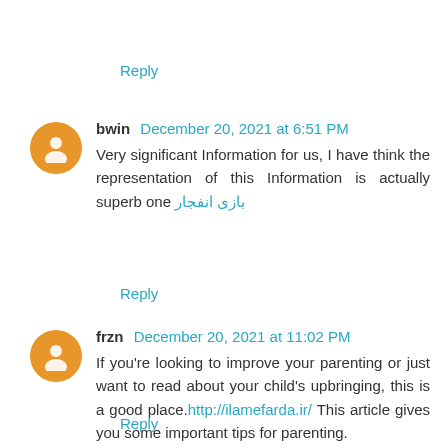Reply
bwin December 20, 2021 at 6:51 PM
Very significant Information for us, I have think the representation of this Information is actually superb one بازی انفجار
Reply
frzn December 20, 2021 at 11:02 PM
If you're looking to improve your parenting or just want to read about your child's upbringing, this is a good place.http://ilamefarda.ir/  This article gives you some important tips for parenting.
Reply